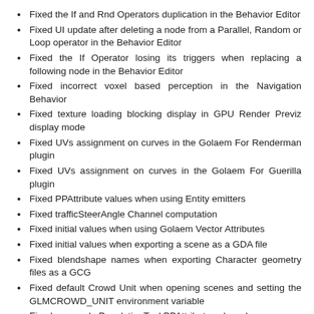Fixed the If and Rnd Operators duplication in the Behavior Editor
Fixed UI update after deleting a node from a Parallel, Random or Loop operator in the Behavior Editor
Fixed the If Operator losing its triggers when replacing a following node in the Behavior Editor
Fixed incorrect voxel based perception in the Navigation Behavior
Fixed texture loading blocking display in GPU Render Previz display mode
Fixed UVs assignment on curves in the Golaem For Renderman plugin
Fixed UVs assignment on curves in the Golaem For Guerilla plugin
Fixed PPAttribute values when using Entity emitters
Fixed trafficSteerAngle Channel computation
Fixed initial values when using Golaem Vector Attributes
Fixed initial values when exporting a scene as a GDA file
Fixed blendshape names when exporting Character geometry files as a GCG
Fixed default Crowd Unit when opening scenes and setting the GLMCROWD_UNIT environment variable
Fixed wrong glmPopulationTool PPAttribute value when